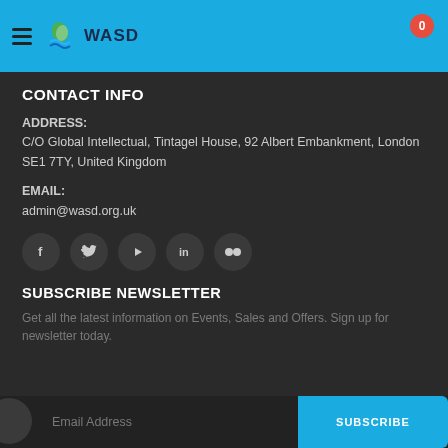WASD - header navigation with hamburger menu, logo, and cart badge showing 0
CONTACT INFO
ADDRESS:
C/O Global Intellectual, Tintagel House, 92 Albert Embankment, London SE1 7TY, United Kingdom
EMAIL:
admin@wasd.org.uk
[Figure (infographic): Social media icon buttons: Facebook (f), Twitter (bird/X), YouTube (play), LinkedIn (in), Flickr (dots)]
SUBSCRIBE NEWSLETTER
Get all the latest information on Events, Sales and Offers. Sign up for newsletter today.
Email Address | SUBSCRIBE button